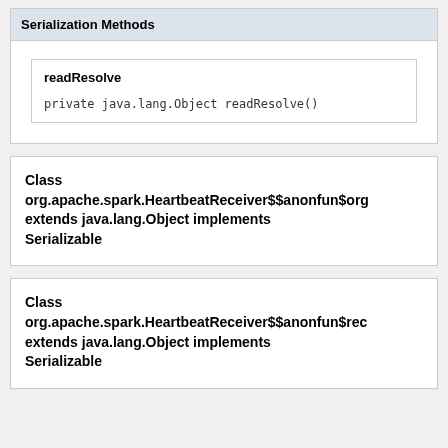| Serialization Methods |
| --- |
| readResolve | private java.lang.Object readResolve() |
Class org.apache.spark.HeartbeatReceiver$$anonfun$org extends java.lang.Object implements Serializable
Class org.apache.spark.HeartbeatReceiver$$anonfun$rec extends java.lang.Object implements Serializable